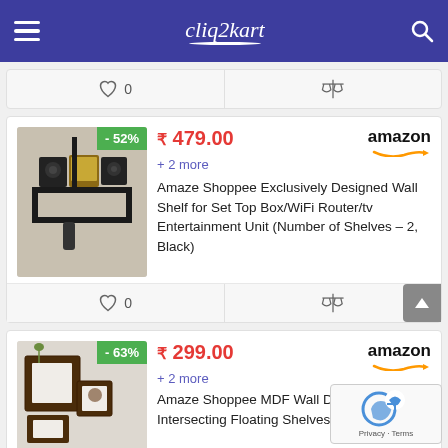cliq2kart
[Figure (screenshot): Wishlist and compare action bar with heart icon showing 0 and scales icon]
[Figure (photo): Black wall shelf with speakers and set-top box, showing -52% discount badge]
₹ 479.00
+ 2 more
amazon
Amaze Shoppee Exclusively Designed Wall Shelf for Set Top Box/WiFi Router/tv Entertainment Unit (Number of Shelves – 2, Black)
[Figure (screenshot): Wishlist and compare action bar with heart icon showing 0 and scales icon]
[Figure (photo): MDF intersecting floating wall shelves in dark brown/black, showing -63% discount badge]
₹ 299.00
+ 2 more
amazon
Amaze Shoppee MDF Wall Decoratio Intersecting Floating Shelves (Black and